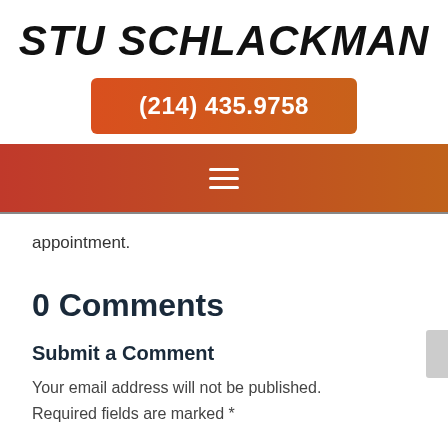STU SCHLACKMAN
(214) 435.9758
[Figure (other): Navigation bar with hamburger menu icon, red-to-orange gradient background]
appointment.
0 Comments
Submit a Comment
Your email address will not be published. Required fields are marked *